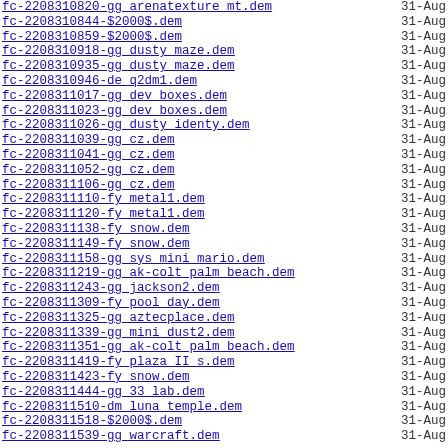fc-2208310820-gg arenatexture mt.dem   31-Aug
fc-2208310844-$2000$.dem   31-Aug
fc-2208310859-$2000$.dem   31-Aug
fc-2208310918-gg dusty maze.dem   31-Aug
fc-2208310935-gg dusty maze.dem   31-Aug
fc-2208310946-de q2dm1.dem   31-Aug
fc-2208311017-gg dev boxes.dem   31-Aug
fc-2208311023-gg dev boxes.dem   31-Aug
fc-2208311026-gg dusty identy.dem   31-Aug
fc-2208311039-gg cz.dem   31-Aug
fc-2208311041-gg cz.dem   31-Aug
fc-2208311052-gg cz.dem   31-Aug
fc-2208311106-gg cz.dem   31-Aug
fc-2208311110-fy metal1.dem   31-Aug
fc-2208311120-fy metal1.dem   31-Aug
fc-2208311138-fy snow.dem   31-Aug
fc-2208311149-fy snow.dem   31-Aug
fc-2208311158-gg sys mini mario.dem   31-Aug
fc-2208311219-gg ak-colt palm beach.dem   31-Aug
fc-2208311243-gg jackson2.dem   31-Aug
fc-2208311309-fy pool day.dem   31-Aug
fc-2208311325-gg aztecplace.dem   31-Aug
fc-2208311339-gg mini dust2.dem   31-Aug
fc-2208311351-gg ak-colt palm beach.dem   31-Aug
fc-2208311419-fy plaza II s.dem   31-Aug
fc-2208311423-fy snow.dem   31-Aug
fc-2208311444-gg 33 lab.dem   31-Aug
fc-2208311510-dm luna temple.dem   31-Aug
fc-2208311518-$2000$.dem   31-Aug
fc-2208311539-gg warcraft.dem   31-Aug